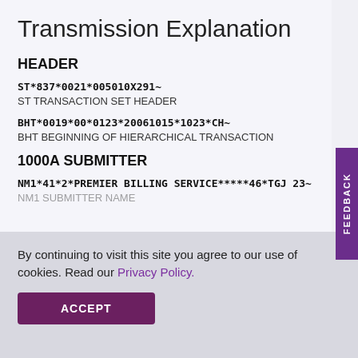Transmission Explanation
HEADER
ST*837*0021*005010X291~
ST TRANSACTION SET HEADER
BHT*0019*00*0123*20061015*1023*CH~
BHT BEGINNING OF HIERARCHICAL TRANSACTION
1000A SUBMITTER
NM1*41*2*PREMIER BILLING SERVICE*****46*TGJ 23~
NM1 SUBMITTER NAME
By continuing to visit this site you agree to our use of cookies. Read our Privacy Policy.
ACCEPT